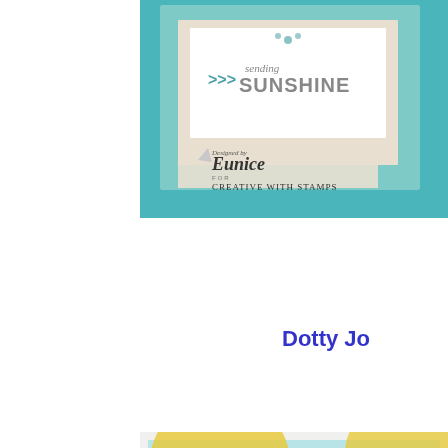[Figure (photo): Close-up of a handmade card with teal/mint green background, featuring 'sending SUNSHINE' text with chevron arrows, and a designer label reading 'Designed by Eunice for Creative with Stamps']
Dotty Jo
[Figure (photo): Close-up of a handmade card featuring large butterfly silhouettes in light blue against yellow and green watercolor background, with text reading 'If nothing ever cha... there would be no butt...']